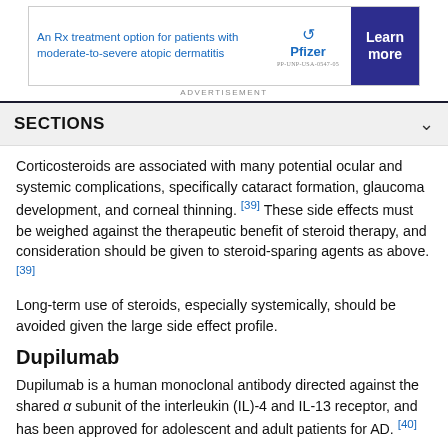[Figure (other): Pfizer advertisement banner for an Rx treatment option for patients with moderate-to-severe atopic dermatitis with 'Learn more' button]
ADVERTISEMENT
SECTIONS
Corticosteroids are associated with many potential ocular and systemic complications, specifically cataract formation, glaucoma development, and corneal thinning. [39] These side effects must be weighed against the therapeutic benefit of steroid therapy, and consideration should be given to steroid-sparing agents as above. [39]
Long-term use of steroids, especially systemically, should be avoided given the large side effect profile.
Dupilumab
Dupilumab is a human monoclonal antibody directed against the shared α subunit of the interleukin (IL)-4 and IL-13 receptor, and has been approved for adolescent and adult patients for AD. [40]